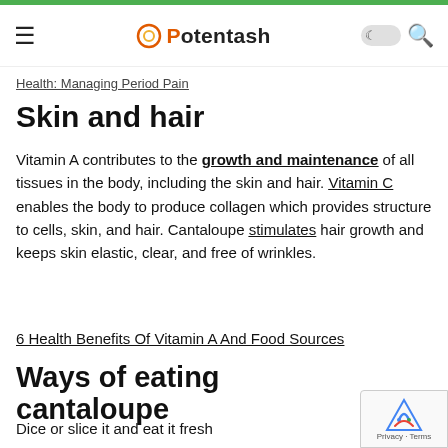Potentash
Health: Managing Period Pain
Skin and hair
Vitamin A contributes to the growth and maintenance of all tissues in the body, including the skin and hair. Vitamin C enables the body to produce collagen which provides structure to cells, skin, and hair. Cantaloupe stimulates hair growth and keeps skin elastic, clear, and free of wrinkles.
6 Health Benefits Of Vitamin A And Food Sources
Ways of eating cantaloupe
Dice or slice it and eat it fresh